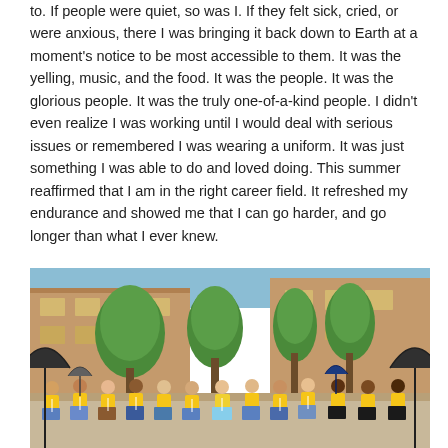to. If people were quiet, so was I. If they felt sick, cried, or were anxious, there I was bringing it back down to Earth at a moment's notice to be most accessible to them. It was the yelling, music, and the food. It was the people. It was the glorious people. It was the truly one-of-a-kind people. I didn't even realize I was working until I would deal with serious issues or remembered I was wearing a uniform. It was just something I was able to do and loved doing. This summer reaffirmed that I am in the right career field. It refreshed my endurance and showed me that I can go harder, and go longer than what I ever knew.
[Figure (photo): Group photo of approximately 12-13 people wearing yellow t-shirts and lanyards, sitting on a ledge outdoors in front of brick buildings and green trees on a sunny day. Some people hold umbrellas.]